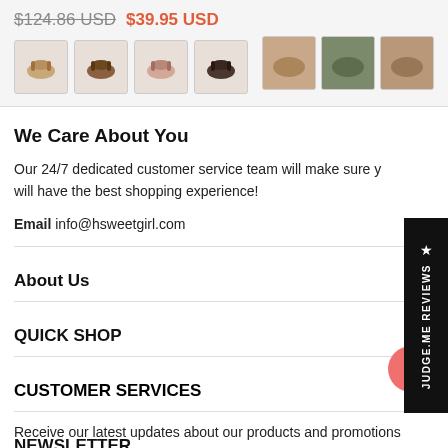$124.86 USD $39.95 USD
[Figure (photo): Four thumbnail images of sandals from different angles]
[Figure (photo): Three thumbnail images of sandals worn on feet]
We Care About You
Our 24/7 dedicated customer service team will make sure you will have the best shopping experience!
Email info@hsweetgirl.com
About Us
QUICK SHOP
CUSTOMER SERVICES
NEWSLETTER
Receive our latest updates about our products and promotions